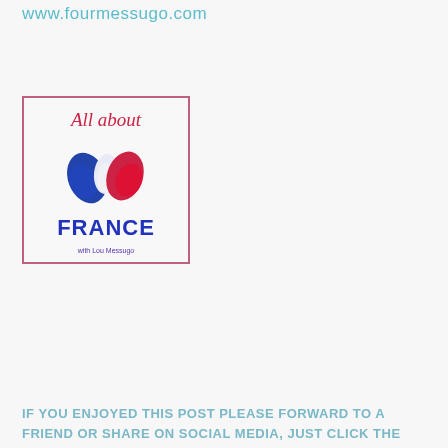www.fourmessugo.com
[Figure (illustration): All about FRANCE logo with tricolor blue, white and red butterfly/flower motif and cursive text 'All about' above, 'FRANCE' in large bold blue letters below, 'with Lou Messugo' in small text at bottom, bordered in pink/red.]
IF YOU ENJOYED THIS POST PLEASE FORWARD TO A FRIEND OR SHARE ON SOCIAL MEDIA, JUST CLICK THE